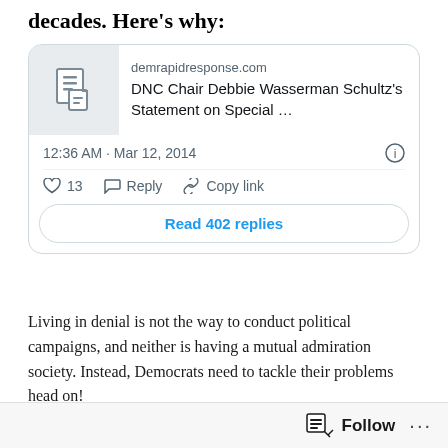decades. Here's why:
[Figure (screenshot): Embedded tweet link preview showing demrapidresponse.com — DNC Chair Debbie Wasserman Schultz's Statement on Special …, with timestamp 12:36 AM · Mar 12, 2014, 13 likes, Reply, Copy link actions, and a Read 402 replies button]
Living in denial is not the way to conduct political campaigns, and neither is having a mutual admiration society. Instead, Democrats need to tackle their problems head on!
Tomorrow my colleagues Ryan Ray and Kartik Krishnaiyer will have more thoughts on this race.
Follow   ...